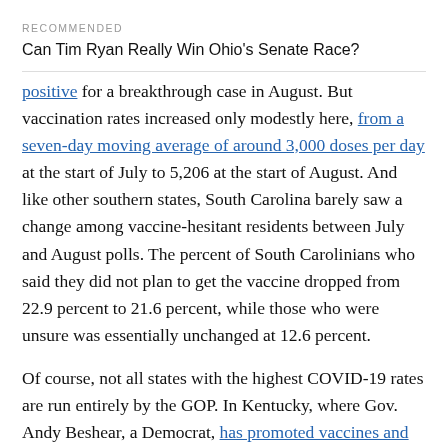RECOMMENDED
Can Tim Ryan Really Win Ohio's Senate Race?
positive for a breakthrough case in August. But vaccination rates increased only modestly here, from a seven-day moving average of around 3,000 doses per day at the start of July to 5,206 at the start of August. And like other southern states, South Carolina barely saw a change among vaccine-hesitant residents between July and August polls. The percent of South Carolinians who said they did not plan to get the vaccine dropped from 22.9 percent to 21.6 percent, while those who were unsure was essentially unchanged at 12.6 percent.
Of course, not all states with the highest COVID-19 rates are run entirely by the GOP. In Kentucky, where Gov. Andy Beshear, a Democrat, has promoted vaccines and mask-wearing, there also has been